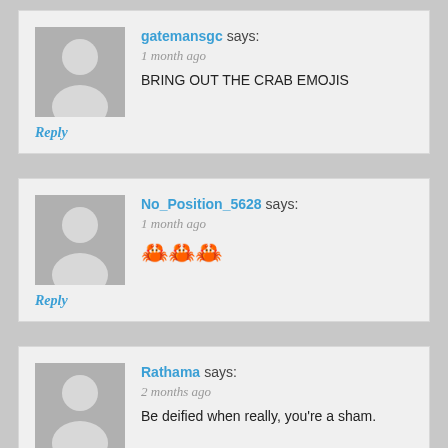gatemansgc says: 1 month ago
BRING OUT THE CRAB EMOJIS
Reply
No_Position_5628 says: 1 month ago
🦀🦀🦀
Reply
Rathama says: 2 months ago
Be deified when really, you're a sham.
Reply